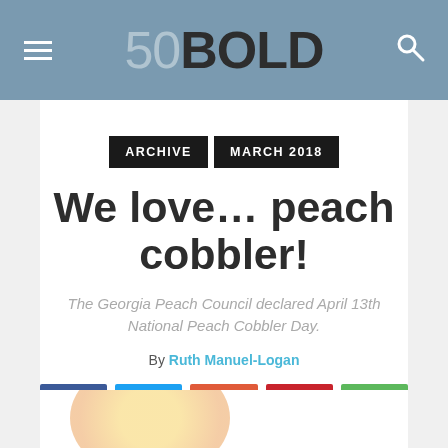50BOLD
ARCHIVE  MARCH 2018
We love… peach cobbler!
The Georgia Peach Council declared April 13th National Peach Cobbler Day.
By Ruth Manuel-Logan
[Figure (other): Social share buttons: Facebook, Twitter, Google+, Pinterest, WhatsApp]